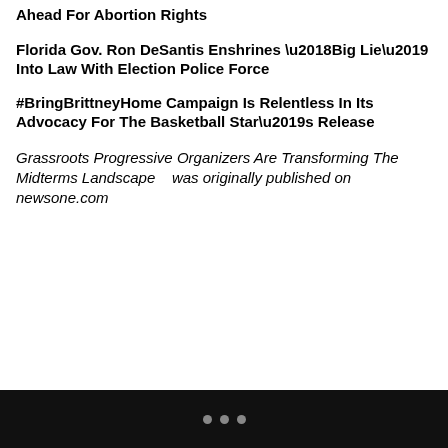Ahead For Abortion Rights
Florida Gov. Ron DeSantis Enshrines ‘Big Lie’ Into Law With Election Police Force
#BringBrittneyHome Campaign Is Relentless In Its Advocacy For The Basketball Star’s Release
Grassroots Progressive Organizers Are Transforming The Midterms Landscape   was originally published on newsone.com
• • •